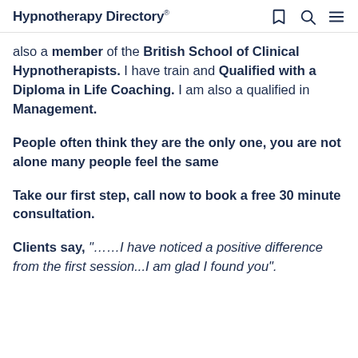Hypnotherapy Directory
also a member of the British School of Clinical Hypnotherapists. I have train and Qualified with a Diploma in Life Coaching. I am also a qualified in Management.
People often think they are the only one, you are not alone many people feel the same
Take our first step, call now to book a free 30 minute consultation.
Clients say, "……I have noticed a positive difference from the first session...I am glad I found you".